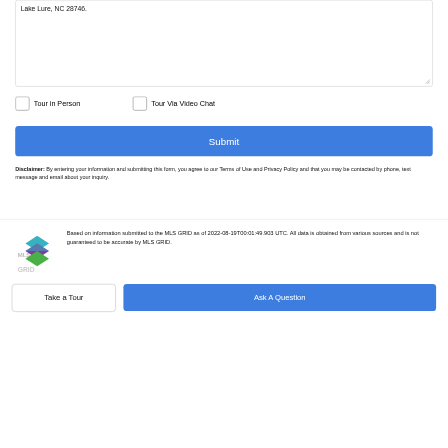Lake Lure, NC 28746.
Tour in Person
Tour Via Video Chat
Submit
Disclaimer: By entering your information and submitting this form, you agree to our Terms of Use and Privacy Policy and that you may be contacted by phone, text message and email about your inquiry.
Based on information submitted to the MLS GRID as of 2022-08-19T00:01:49.903 UTC. All data is obtained from various sources and is not guaranteed to be accurate by MLS GRID.
Take a Tour
Ask A Question